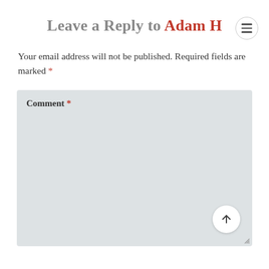Leave a Reply to Adam H
Your email address will not be published. Required fields are marked *
Comment *